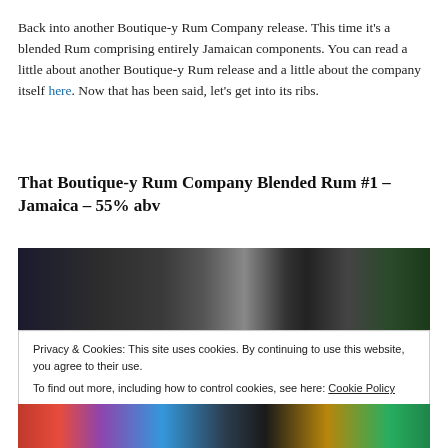Back into another Boutique-y Rum Company release. This time it’s a blended Rum comprising entirely Jamaican components. You can read a little about another Boutique-y Rum release and a little about the company itself here. Now that has been said, let’s get into its ribs.
That Boutique-y Rum Company Blended Rum #1 – Jamaica – 55% abv
[Figure (photo): Top portion of a dark blurred photo showing bottles on a shelf with dark and colorful backgrounds]
Privacy & Cookies: This site uses cookies. By continuing to use this website, you agree to their use.
To find out more, including how to control cookies, see here: Cookie Policy
Close and accept
[Figure (photo): Bottom portion of a photo showing colorful bottles including red, purple, blue, and green]